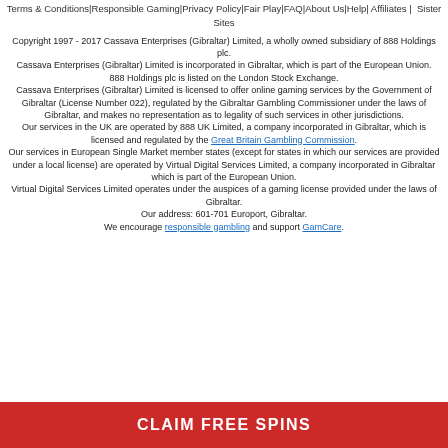Terms & Conditions|Responsible Gaming|Privacy Policy|Fair Play|FAQ|About Us|Help| Affiliates |  Sister Sites
Copyright 1997 - 2017 Cassava Enterprises (Gibraltar) Limited, a wholly owned subsidiary of 888 Holdings plc.
Cassava Enterprises (Gibraltar) Limited is incorporated in Gibraltar, which is part of the European Union.
888 Holdings plc is listed on the London Stock Exchange.
Cassava Enterprises (Gibraltar) Limited is licensed to offer online gaming services by the Government of Gibraltar (License Number 022), regulated by the Gibraltar Gambling Commissioner under the laws of Gibraltar, and makes no representation as to legality of such services in other jurisdictions.
Our services in the UK are operated by 888 UK Limited, a company incorporated in Gibraltar, which is licensed and regulated by the Great Britain Gambling Commission.
Our services in European Single Market member states (except for states in which our services are provided under a local license) are operated by Virtual Digital Services Limited, a company incorporated in Gibraltar which is part of the European Union.
Virtual Digital Services Limited operates under the auspices of a gaming license provided under the laws of Gibraltar.
Our address: 601-701 Europort, Gibraltar.
We encourage responsible gambling and support GamCare.
CLAIM FREE SPINS